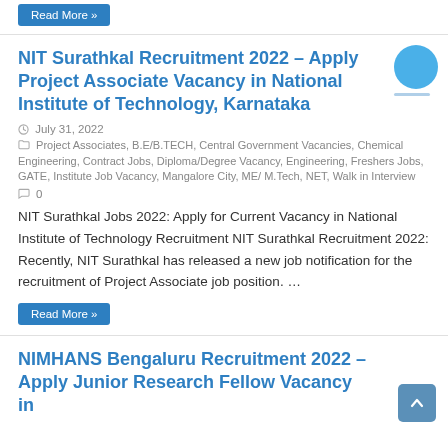Read More »
NIT Surathkal Recruitment 2022 – Apply Project Associate Vacancy in National Institute of Technology, Karnataka
July 31, 2022
Project Associates, B.E/B.TECH, Central Government Vacancies, Chemical Engineering, Contract Jobs, Diploma/Degree Vacancy, Engineering, Freshers Jobs, GATE, Institute Job Vacancy, Mangalore City, ME/ M.Tech, NET, Walk in Interview
0
NIT Surathkal Jobs 2022: Apply for Current Vacancy in National Institute of Technology Recruitment NIT Surathkal Recruitment 2022: Recently, NIT Surathkal has released a new job notification for the recruitment of Project Associate job position. …
Read More »
NIMHANS Bengaluru Recruitment 2022 – Apply Junior Research Fellow Vacancy in